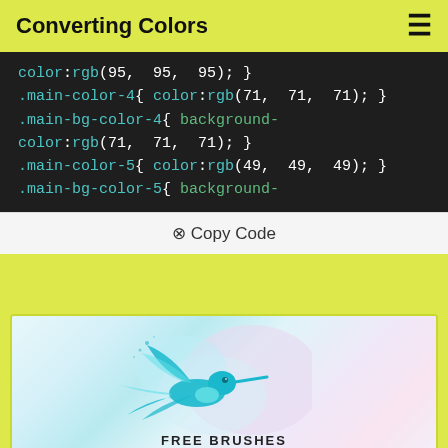Converting Colors
color:rgb(95, 95, 95); }
.main-color-4{ color:rgb(71, 71, 71); }
.main-bg-color-4{ background-color:rgb(71, 71, 71); }
.main-color-5{ color:rgb(49, 49, 49); }
.main-bg-color-5{ background-
⧉ Copy Code
[Figure (illustration): Colorful hummingbird illustration with teal and purple watercolor tones, with text 'FREE BRUSHES' partially visible at bottom]